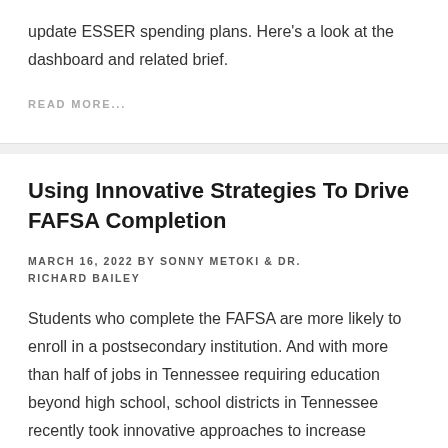update ESSER spending plans. Here's a look at the dashboard and related brief.
READ MORE...
Using Innovative Strategies To Drive FAFSA Completion
MARCH 16, 2022 BY SONNY METOKI & DR. RICHARD BAILEY
Students who complete the FAFSA are more likely to enroll in a postsecondary institution. And with more than half of jobs in Tennessee requiring education beyond high school, school districts in Tennessee recently took innovative approaches to increase FAFSA completion and put more students on the path to college.